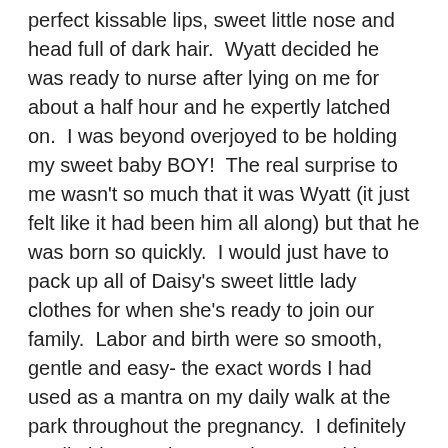perfect kissable lips, sweet little nose and head full of dark hair.  Wyatt decided he was ready to nurse after lying on me for about a half hour and he expertly latched on.  I was beyond overjoyed to be holding my sweet baby BOY!  The real surprise to me wasn't so much that it was Wyatt (it just felt like it had been him all along) but that he was born so quickly.  I would just have to pack up all of Daisy's sweet little lady clothes for when she's ready to join our family.  Labor and birth were so smooth, gentle and easy- the exact words I had used as a mantra on my daily walk at the park throughout the pregnancy.  I definitely credit this amazing experience to taking care of my body both physically- daily exercise of walking and yoga and eating organic, vegetarian foods- and mentally- my positive thinking, birth education and confidence in my body's innate ability to grow and birth a baby.  My placenta smoothly slid out with one final surge.  We 'oohed and ahhed' over it and Ellen made prints for